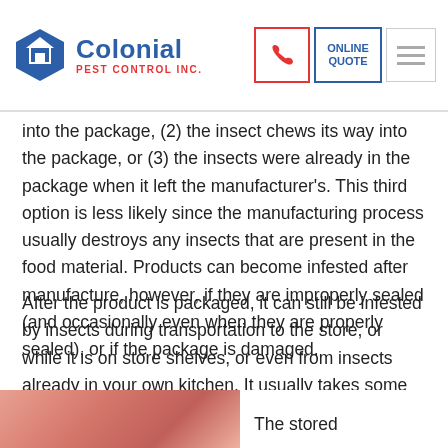Colonial Pest Control Inc.
into the package, (2) the insect chews its way into the package, or (3) the insects were already in the package when it left the manufacturer's. This third option is less likely since the manufacturing process usually destroys any insects that are present in the food material. Products can become infested after manufacture, however, if they are improperly sealed (and occasionally even when they are properly sealed), or if the package is damaged.
After the product is packaged, it can still be infested by insects during transportation to the store, or while it is on store shelves, or even from insects already in your own kitchen. It usually takes some time for eggs to hatch or for insects to be noticeable in the package so tracking the infestation back to the source is tricky.
The stored